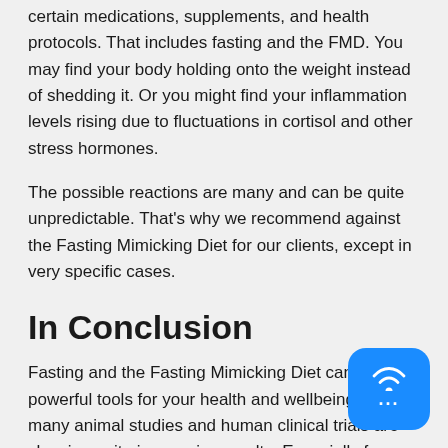certain medications, supplements, and health protocols. That includes fasting and the FMD. You may find your body holding onto the weight instead of shedding it. Or you might find your inflammation levels rising due to fluctuations in cortisol and other stress hormones.
The possible reactions are many and can be quite unpredictable. That's why we recommend against the Fasting Mimicking Diet for our clients, except in very specific cases.
In Conclusion
Fasting and the Fasting Mimicking Diet can be very powerful tools for your health and wellbeing. The many animal studies and human clinical trials are showing quite impressive results. Especially for those at higher risk of chronic diseases such cardiovascular disease, diabetes, and cancer.